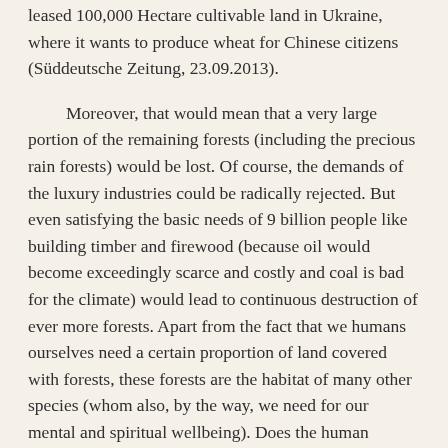leased 100,000 Hectare cultivable land in Ukraine, where it wants to produce wheat for Chinese citizens (Süddeutsche Zeitung, 23.09.2013).
Moreover, that would mean that a very large portion of the remaining forests (including the precious rain forests) would be lost. Of course, the demands of the luxury industries could be radically rejected. But even satisfying the basic needs of 9 billion people like building timber and firewood (because oil would become exceedingly scarce and costly and coal is bad for the climate) would lead to continuous destruction of ever more forests. Apart from the fact that we humans ourselves need a certain proportion of land covered with forests, these forests are the habitat of many other species (whom also, by the way, we need for our mental and spiritual wellbeing). Does the human species have the right to conquer more living space at the expense of the other species of nature?
If we opt for more intensive agriculture, it is important to know that there are also limits to increasing production by using more and more chemicals. Already in 1984, Lester Brown of the Worldwatch Institute wrote that response of crops to the use of